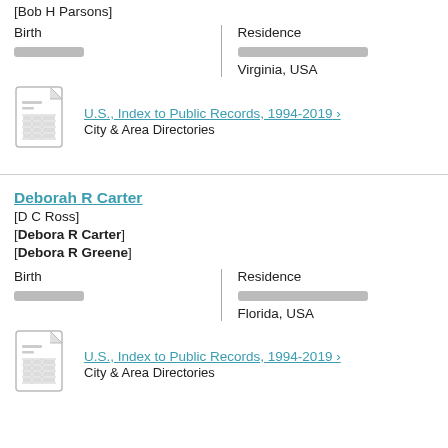[Bob H Parsons]
Birth | Residence
[redacted] | [redacted]
Virginia, USA
[Figure (illustration): Document/record icon]
U.S., Index to Public Records, 1994-2019 > City & Area Directories
Deborah R Carter
[D C Ross]
[Debora R Carter]
[Debora R Greene]
Birth | Residence
[redacted] | [redacted]
Florida, USA
[Figure (illustration): Document/record icon]
U.S., Index to Public Records, 1994-2019 > City & Area Directories